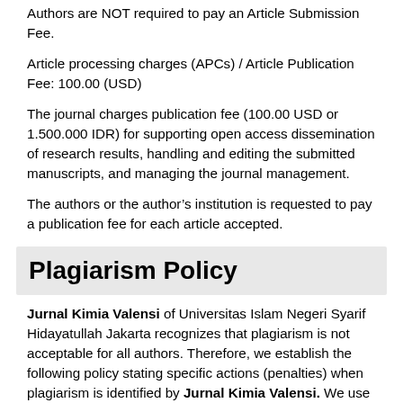Authors are NOT required to pay an Article Submission Fee.
Article processing charges (APCs) / Article Publication Fee: 100.00 (USD)
The journal charges publication fee (100.00 USD or 1.500.000 IDR) for supporting open access dissemination of research results, handling and editing the submitted manuscripts, and managing the journal management.
The authors or the author's institution is requested to pay a publication fee for each article accepted.
Plagiarism Policy
Jurnal Kimia Valensi of Universitas Islam Negeri Syarif Hidayatullah Jakarta recognizes that plagiarism is not acceptable for all authors. Therefore, we establish the following policy stating specific actions (penalties) when plagiarism is identified by Jurnal Kimia Valensi. We use anti-plagiarism software detection (turnitin.com) to check